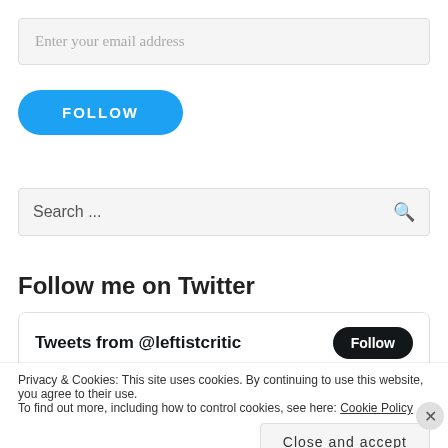Enter your email address
[Figure (screenshot): Blue rounded FOLLOW button]
Search ...
Follow me on Twitter
Tweets from @leftistcritic
Privacy & Cookies: This site uses cookies. By continuing to use this website, you agree to their use. To find out more, including how to control cookies, see here: Cookie Policy
Close and accept